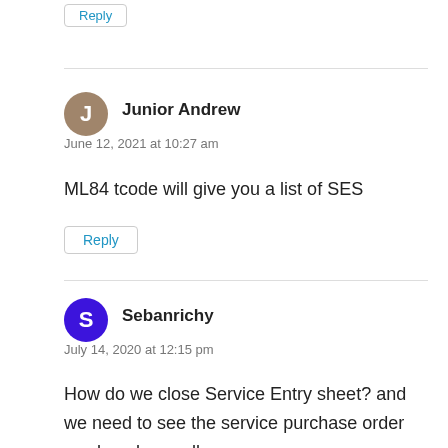Reply
Junior Andrew
June 12, 2021 at 10:27 am
ML84 tcode will give you a list of SES
Reply
Sebanrichy
July 14, 2020 at 12:15 pm
How do we close Service Entry sheet? and we need to see the service purchase order as closed as well.